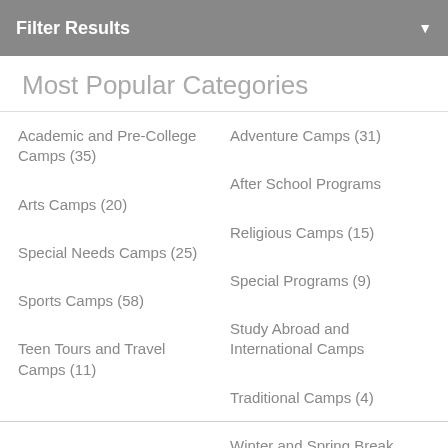Filter Results
Most Popular Categories
Academic and Pre-College Camps (35)
Adventure Camps (31)
After School Programs
Arts Camps (20)
Religious Camps (15)
Special Needs Camps (25)
Special Programs (9)
Sports Camps (58)
Study Abroad and International Camps
Teen Tours and Travel Camps (11)
Traditional Camps (4)
Winter and Spring Break Programs